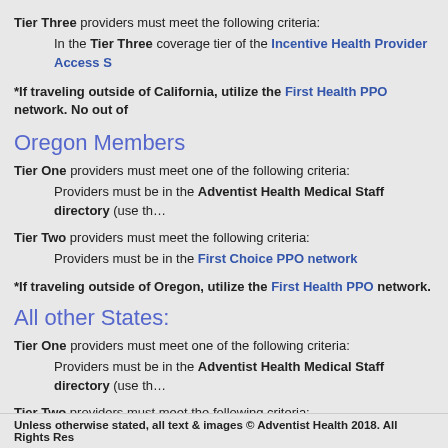Tier Three providers must meet the following criteria:
In the Tier Three coverage tier of the Incentive Health Provider Access S…
*If traveling outside of California, utilize the First Health PPO network. No out of…
Oregon Members
Tier One providers must meet one of the following criteria:
Providers must be in the Adventist Health Medical Staff directory (use th…
Tier Two providers must meet the following criteria:
Providers must be in the First Choice PPO network
*If traveling outside of Oregon, utilize the First Health PPO network.
All other States:
Tier One providers must meet one of the following criteria:
Providers must be in the Adventist Health Medical Staff directory (use th…
Tier Two providers must meet the following criteria:
Providers must be in the First Health network.
Loma Linda Medical Center and Loma Linda Medical Center-Murietta are considered A…
Unless otherwise stated, all text & images © Adventist Health 2018. All Rights Res…